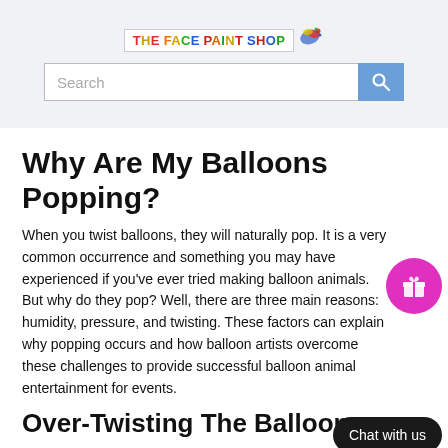[Figure (logo): The Face Paint Shop logo with colorful text and paint splat graphic]
Why Are My Balloons Popping?
When you twist balloons, they will naturally pop. It is a very common occurrence and something you may have experienced if you've ever tried making balloon animals. But why do they pop? Well, there are three main reasons: humidity, pressure, and twisting. These factors can explain why popping occurs and how balloon artists overcome these challenges to provide successful balloon animal entertainment for events.
Over-Twisting The Balloon